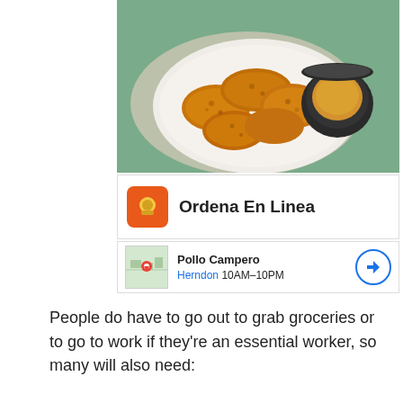[Figure (photo): Photo of fried chicken pieces on a white plate with dipping sauce, on a teal/wood surface]
[Figure (screenshot): UI card showing 'Ordena En Linea' with orange food delivery icon]
[Figure (screenshot): UI card showing Pollo Campero, Herndon 10AM-10PM with map thumbnail and navigation button]
People do have to go out to grab groceries or to go to work if they’re an essential worker, so many will also need:
Masks
Gloves
[Figure (screenshot): Ad banner: Here, unique is everyday. Homesense, with Home Sense logo and navigation arrow]